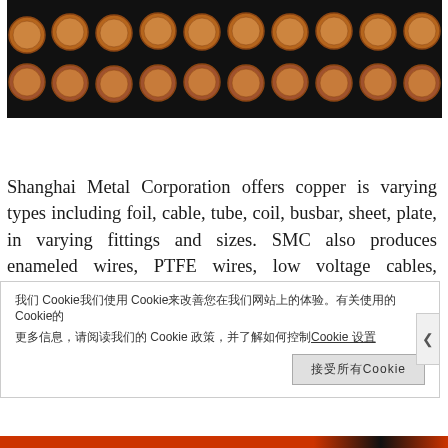[Figure (photo): A row of copper pennies/coins arranged in two rows on a black background, showing their brown copper color.]
Shanghai Metal Corporation offers copper is varying types including foil, cable, tube, coil, busbar, sheet, plate, in varying fittings and sizes. SMC also produces enameled wires, PTFE wires, low voltage cables, fiberglass copper wires for the security, telecommunications, electrical, commercial, industrial, and automotive industries. To find out
我们 Cookie我们使用 Cookie来改善您在我们网站上的体验。有关使用的 Cookie的更多信息，请阅读我们的 Cookie 政策，并了解如何控制Cookie。 Cookie 设置
接受所有Cookie